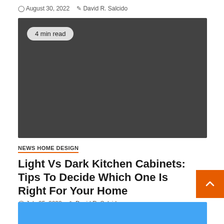August 30, 2022  David R. Salcido
[Figure (photo): Dark gray placeholder image with a '4 min read' badge in the upper left corner]
NEWS HOME DESIGN
Light Vs Dark Kitchen Cabinets: Tips To Decide Which One Is Right For Your Home
July 25, 2022  David R. Salcido
[Figure (photo): Light blue placeholder image partially visible at the bottom of the page]